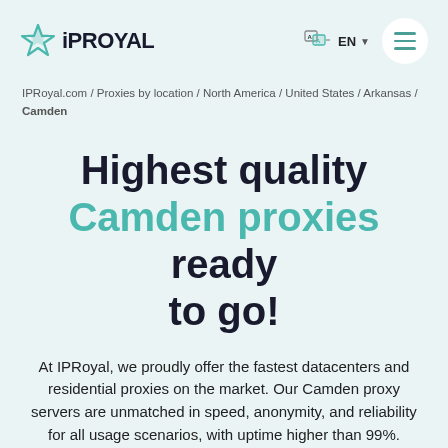IPRoyal EN
IPRoyal.com / Proxies by location / North America / United States / Arkansas / Camden
Highest quality Camden proxies ready to go!
At IPRoyal, we proudly offer the fastest datacenters and residential proxies on the market. Our Camden proxy servers are unmatched in speed, anonymity, and reliability for all usage scenarios, with uptime higher than 99%. Premium Camden IPRoyal...